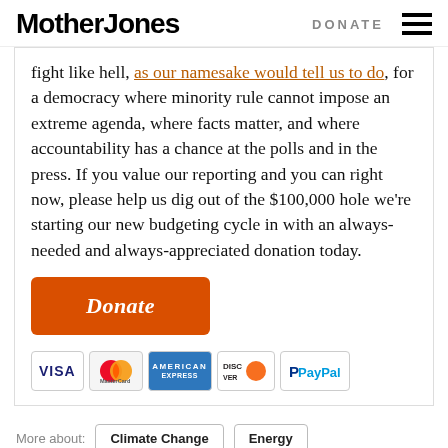Mother Jones | DONATE
fight like hell, as our namesake would tell us to do, for a democracy where minority rule cannot impose an extreme agenda, where facts matter, and where accountability has a chance at the polls and in the press. If you value our reporting and you can right now, please help us dig out of the $100,000 hole we're starting our new budgeting cycle in with an always-needed and always-appreciated donation today.
[Figure (infographic): Orange Donate button followed by payment method icons: VISA, MasterCard, American Express, Discover, PayPal]
More about: Climate Change  Energy